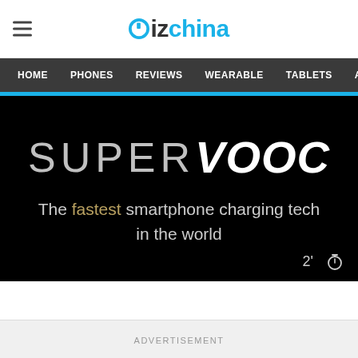Gizchina
HOME  PHONES  REVIEWS  WEARABLE  TABLETS  ABOU
[Figure (screenshot): SUPER VOOC promotional image on black background. Text reads 'SUPER VOOC' in large letters and 'The fastest smartphone charging tech in the world'. Timer overlay shows 2' with stopwatch icon.]
ADVERTISEMENT